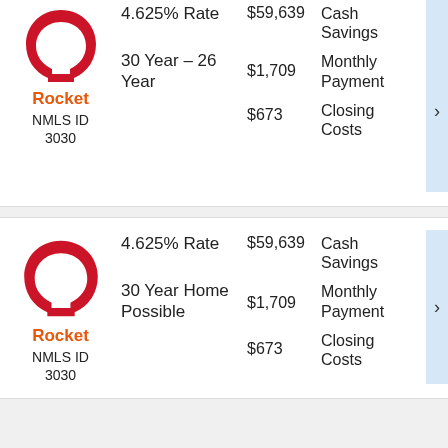[Figure (logo): Rocket Mortgage logo - red horseshoe shape]
Rocket
NMLS ID 3030
4.625% Rate
30 Year - 26 Year
$59,639
$1,709
$673
Cash Savings
Monthly Payment
Closing Costs
[Figure (logo): Rocket Mortgage logo - red horseshoe shape]
Rocket
NMLS ID 3030
4.625% Rate
30 Year Home Possible
$59,639
$1,709
$673
Cash Savings
Monthly Payment
Closing Costs